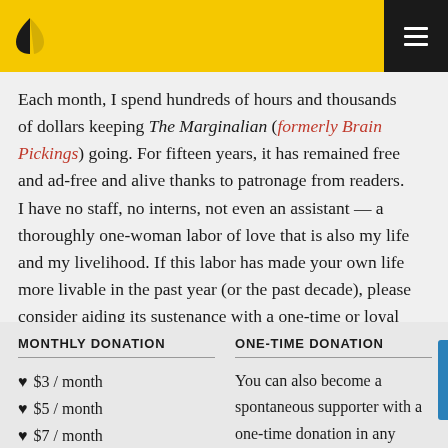The Marginalian — navigation header with logo and hamburger menu
Each month, I spend hundreds of hours and thousands of dollars keeping The Marginalian (formerly Brain Pickings) going. For fifteen years, it has remained free and ad-free and alive thanks to patronage from readers. I have no staff, no interns, not even an assistant — a thoroughly one-woman labor of love that is also my life and my livelihood. If this labor has made your own life more livable in the past year (or the past decade), please consider aiding its sustenance with a one-time or loyal donation. Your support makes all the difference.
MONTHLY DONATION
♥ $3 / month
♥ $5 / month
♥ $7 / month
♥ $10 / month
♥ $25 / month
ONE-TIME DONATION
You can also become a spontaneous supporter with a one-time donation in any amount: